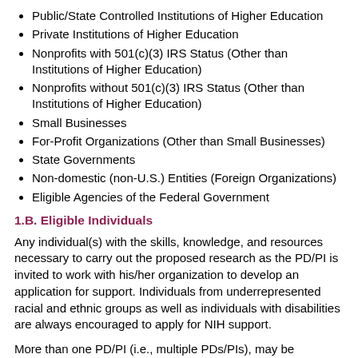Public/State Controlled Institutions of Higher Education
Private Institutions of Higher Education
Nonprofits with 501(c)(3) IRS Status (Other than Institutions of Higher Education)
Nonprofits without 501(c)(3) IRS Status (Other than Institutions of Higher Education)
Small Businesses
For-Profit Organizations (Other than Small Businesses)
State Governments
Non-domestic (non-U.S.) Entities (Foreign Organizations)
Eligible Agencies of the Federal Government
1.B. Eligible Individuals
Any individual(s) with the skills, knowledge, and resources necessary to carry out the proposed research as the PD/PI is invited to work with his/her organization to develop an application for support. Individuals from underrepresented racial and ethnic groups as well as individuals with disabilities are always encouraged to apply for NIH support.
More than one PD/PI (i.e., multiple PDs/PIs), may be designated on the application for projects that require a “team science” approach and therefore clearly do not fit the